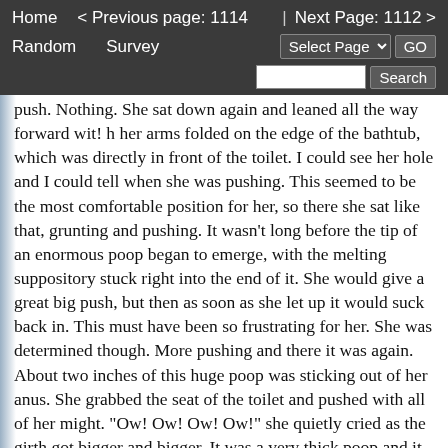Home   < Previous page: 1114   |   Next Page: 1112 >
Random   Survey   Select Page  GO   Search
push. Nothing. She sat down again and leaned all the way forward wit! h her arms folded on the edge of the bathtub, which was directly in front of the toilet. I could see her hole and I could tell when she was pushing. This seemed to be the most comfortable position for her, so there she sat like that, grunting and pushing. It wasn't long before the tip of an enormous poop began to emerge, with the melting suppository stuck right into the end of it. She would give a great big push, but then as soon as she let up it would suck back in. This must have been so frustrating for her. She was determined though. More pushing and there it was again. About two inches of this huge poop was sticking out of her anus. She grabbed the seat of the toilet and pushed with all of her might. "Ow! Ow! Ow! Ow!" she quietly cried as the girth got bigger and bigger. It was a very thick poop and it looked solid as a rock. Very slowly she pushed out her enormous poop, stopping to catch her breath every so often. "Damn it!!" she cursed under her breath. Af! ter about 4 inches was sticking out from her behind, she